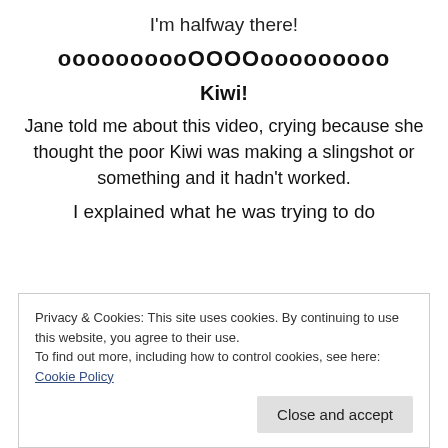I'm halfway there!
oooooooooOOOOooooooooo
Kiwi!
Jane told me about this video, crying because she thought the poor Kiwi was making a slingshot or something and it hadn't worked.
I explained what he was trying to do
Privacy & Cookies: This site uses cookies. By continuing to use this website, you agree to their use.
To find out more, including how to control cookies, see here: Cookie Policy
Close and accept